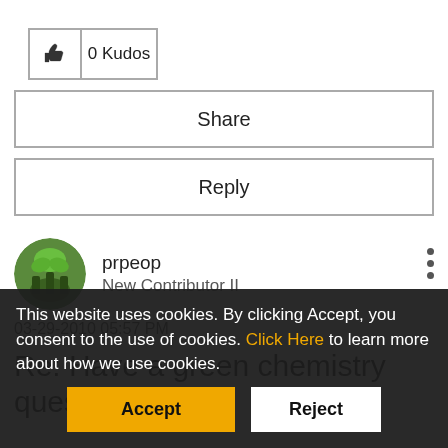[Figure (other): Kudos button with thumbs up icon and 0 Kudos count]
Share
Reply
[Figure (photo): User avatar for prpeop - green character illustration]
prpeop
New Contributor II
03-29-2010 05:57 PM
Re: Have a green chemistry question?
This website uses cookies. By clicking Accept, you consent to the use of cookies. Click Here to learn more about how we use cookies.
Accept
Reject